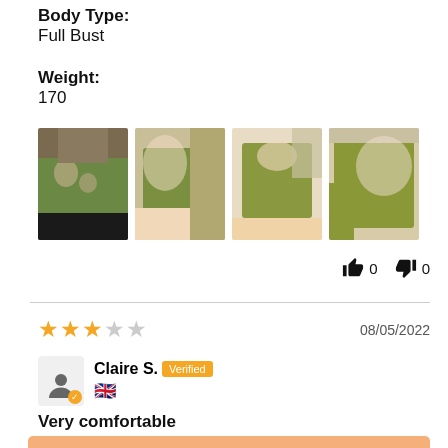Body Type:
Full Bust
Weight:
170
[Figure (photo): Four product photos of a green sports bra/crop top worn by a reviewer, showing back view, side/front view, front view, and close-up chest view]
👍 0   👎 0
★★★☆☆  08/05/2022
Claire S. Verified 🇬🇧
Very comfortable
Add to Cart
it is very good, just enough compression and support for more high intensity workouts, but very